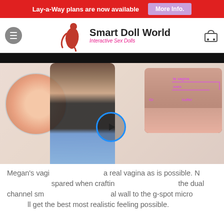Lay-a-Way plans are now available   More Info.
[Figure (screenshot): Smart Doll World website header with logo, navigation menu button, and shopping cart icon]
[Figure (photo): Composite product page image showing anatomical diagrams and a woman posing, with a video play button overlay]
Megan's vagina is as close to a real vagina as is possible. No expense was spared when crafting this vagina. From the dual channel smart texture to the canal wall to the g-spot micro texture, you will get the best most realistic feeling possible.